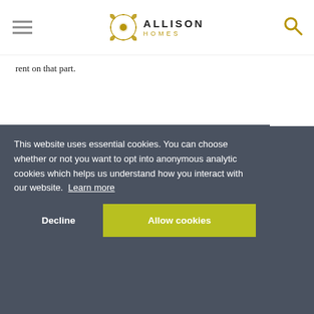ALLISON HOMES
rent on that part.
6 Reasons for using Home Reach
Accessible route onto the housing ladder
Provides security of homeownership
Freedom to decorate and improve your home
Ability to increase the level of ownership at any time
Flexibility to sell on your terms at any time
This website uses essential cookies. You can choose whether or not you want to opt into anonymous analytic cookies which helps us understand how you interact with our website. Learn more